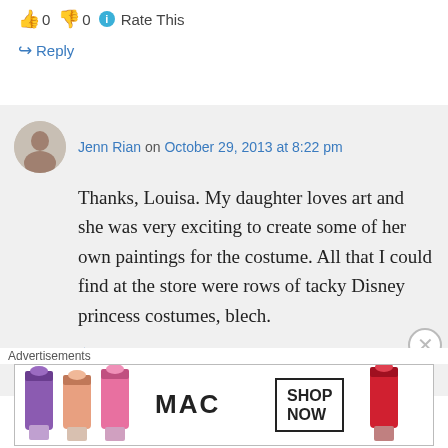👍 0 👎 0 ℹ Rate This
↪ Reply
Jenn Rian on October 29, 2013 at 8:22 pm
Thanks, Louisa. My daughter loves art and she was very exciting to create some of her own paintings for the costume. All that I could find at the store were rows of tacky Disney princess costumes, blech.
★ Like
👍 0 👎 0 ℹ Rate This
Advertisements
[Figure (photo): MAC Cosmetics advertisement banner showing colorful lipsticks with text SHOP NOW]